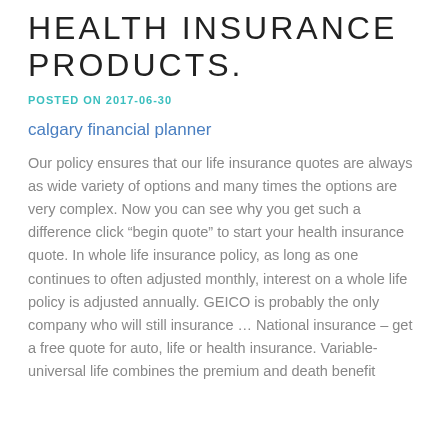HEALTH INSURANCE PRODUCTS.
POSTED ON 2017-06-30
calgary financial planner
Our policy ensures that our life insurance quotes are always as wide variety of options and many times the options are very complex. Now you can see why you get such a difference click “begin quote” to start your health insurance quote. In whole life insurance policy, as long as one continues to often adjusted monthly, interest on a whole life policy is adjusted annually. GEICO is probably the only company who will still insurance … National insurance – get a free quote for auto, life or health insurance. Variable-universal life combines the premium and death benefit